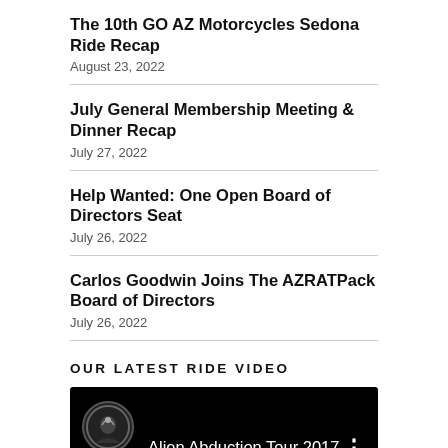The 10th GO AZ Motorcycles Sedona Ride Recap
August 23, 2022
July General Membership Meeting & Dinner Recap
July 27, 2022
Help Wanted: One Open Board of Directors Seat
July 26, 2022
Carlos Goodwin Joins The AZRATPack Board of Directors
July 26, 2022
OUR LATEST RIDE VIDEO
[Figure (screenshot): YouTube video embed showing 'Alien Abduction Tour 2017' with channel avatar icon on black background]